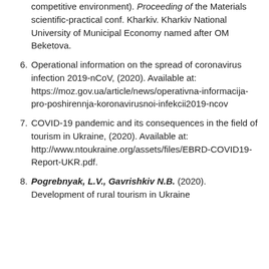competitive environment). Proceeding of the Materials scientific-practical conf. Kharkiv. Kharkiv National University of Municipal Economy named after OM Beketova.
6. Operational information on the spread of coronavirus infection 2019-nCoV, (2020). Available at: https://moz.gov.ua/article/news/operativna-informacija-pro-poshirennja-koronavirusnoi-infekcii2019-ncov
7. COVID-19 pandemic and its consequences in the field of tourism in Ukraine, (2020). Available at: http://www.ntoukraine.org/assets/files/EBRD-COVID19-Report-UKR.pdf.
8. Pogrebnyak, L.V., Gavrishkiv N.B. (2020). Development of rural tourism in Ukraine